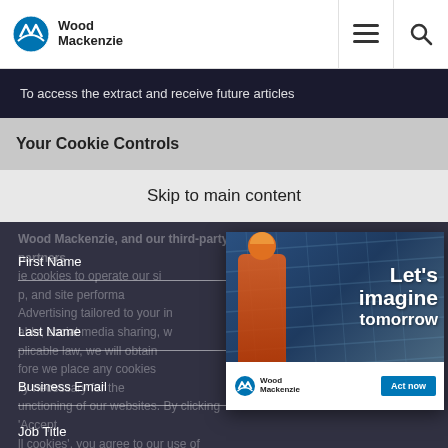Wood Mackenzie logo, hamburger menu, search icon navigation bar
To access the extract and receive future articles
Your Cookie Controls
Skip to main content
Wood Mackenzie, and our third-party partners
ie cookies to operate our si
First Name
p, and site performa
Advertising tailored to your in
Last Name
plicable law, we will obtain
fore we place any cookies
Business Email
unctioning of our websites. By clicking 'Accept
ll cookies', you agree to our use of cookies.
Job Title
ur preferences in our Cookie Notice.
[Figure (screenshot): Wood Mackenzie promotional popup card with solar panels background image, person in orange suit, text 'Let's imagine tomorrow', Wood Mackenzie logo and 'Act now' blue button]